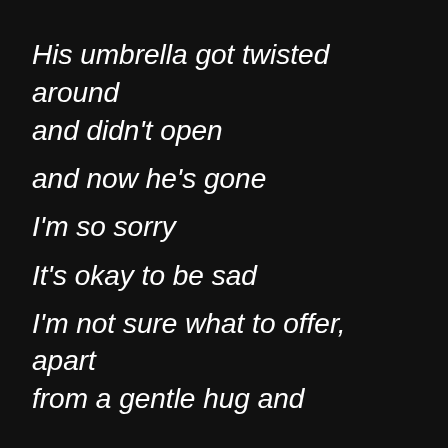His umbrella got twisted around and didn't open
and now he's gone
I'm so sorry
It's okay to be sad
I'm not sure what to offer, apart from a gentle hug and